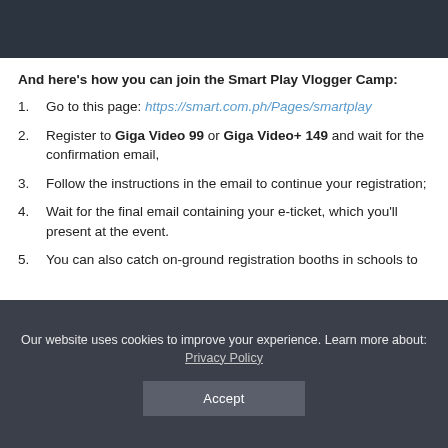[Figure (photo): Dark header image/banner at top of page]
And here's how you can join the Smart Play Vlogger Camp:
1. Go to this page: https://smart.com.ph/Pages/smartplay
2. Register to Giga Video 99 or Giga Video+ 149 and wait for the confirmation email,
3. Follow the instructions in the email to continue your registration;
4. Wait for the final email containing your e-ticket, which you'll present at the event.
5. You can also catch on-ground registration booths in schools to
Our website uses cookies to improve your experience. Learn more about: Privacy Policy
Accept